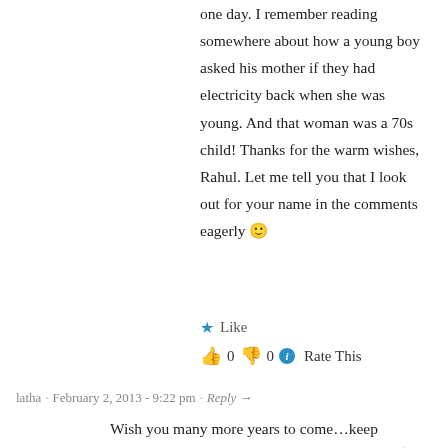one day. I remember reading somewhere about how a young boy asked his mother if they had electricity back when she was young. And that woman was a 70s child! Thanks for the warm wishes, Rahul. Let me tell you that I look out for your name in the comments eagerly 🙂
★ Like
👍 0 👎 0 ℹ Rate This
latha · February 2, 2013 · 9:22 pm · Reply →
Wish you many more years to come…keep blogging and keep enlightening us, naggig us 🙂 bless you for the years to come with lot of